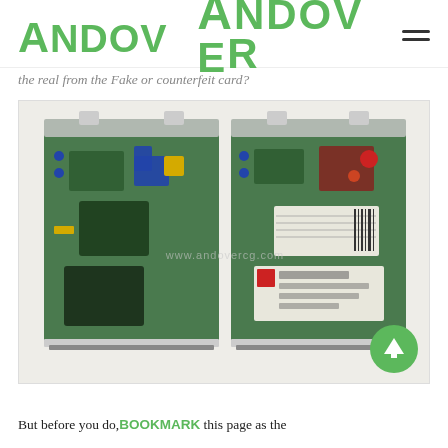ANDOVER
the real from the Fake or counterfeit card?
[Figure (photo): Two green PCB circuit boards side by side with metal mounting brackets at top, showing electronic components including chips, capacitors, and labels. Watermark 'www.andovercg.com' visible across the image. A green circular scroll-to-top button with upward arrow is overlaid at bottom right.]
But before you do, BOOKMARK this page as the